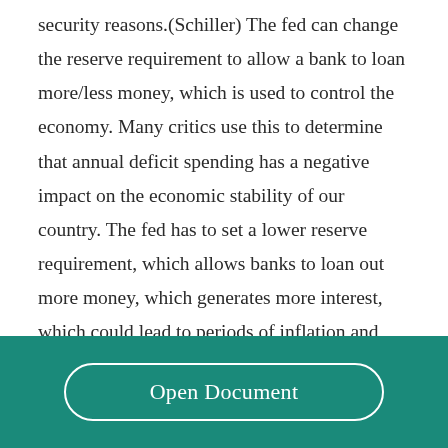security reasons.(Schiller) The fed can change the reserve requirement to allow a bank to loan more/less money, which is used to control the economy. Many critics use this to determine that annual deficit spending has a negative impact on the economic stability of our country. The fed has to set a lower reserve requirement, which allows banks to loan out more money, which generates more interest, which could lead to periods of inflation and could have worse consequences if the
Open Document